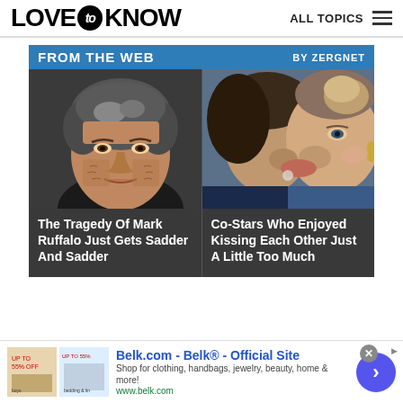LOVE to KNOW   ALL TOPICS
FROM THE WEB   BY ZERGNET
[Figure (photo): Close-up portrait of actor Mark Ruffalo with gray-streaked hair against dark background]
The Tragedy Of Mark Ruffalo Just Gets Sadder And Sadder
[Figure (photo): Two people kissing closely, woman with blonde hair wearing earrings]
Co-Stars Who Enjoyed Kissing Each Other Just A Little Too Much
Belk.com - Belk® - Official Site
Shop for clothing, handbags, jewelry, beauty, home & more!
www.belk.com